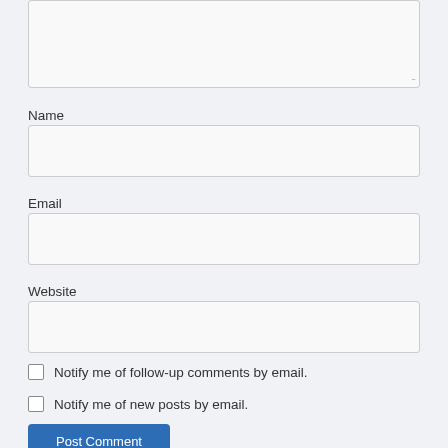[Comment textarea — partially visible]
Name
[Name input field]
Email
[Email input field]
Website
[Website input field]
Notify me of follow-up comments by email.
Notify me of new posts by email.
Post Comment